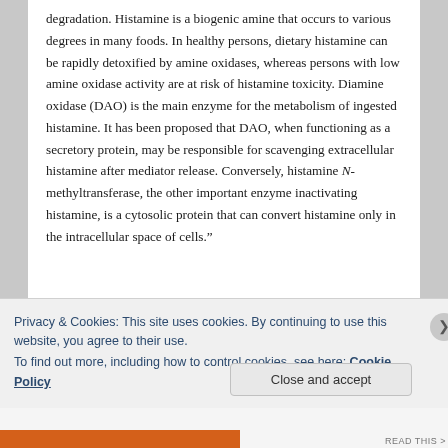degradation. Histamine is a biogenic amine that occurs to various degrees in many foods. In healthy persons, dietary histamine can be rapidly detoxified by amine oxidases, whereas persons with low amine oxidase activity are at risk of histamine toxicity. Diamine oxidase (DAO) is the main enzyme for the metabolism of ingested histamine. It has been proposed that DAO, when functioning as a secretory protein, may be responsible for scavenging extracellular histamine after mediator release. Conversely, histamine N-methyltransferase, the other important enzyme inactivating histamine, is a cytosolic protein that can convert histamine only in the intracellular space of cells.”
Privacy & Cookies: This site uses cookies. By continuing to use this website, you agree to their use. To find out more, including how to control cookies, see here: Cookie Policy
Close and accept